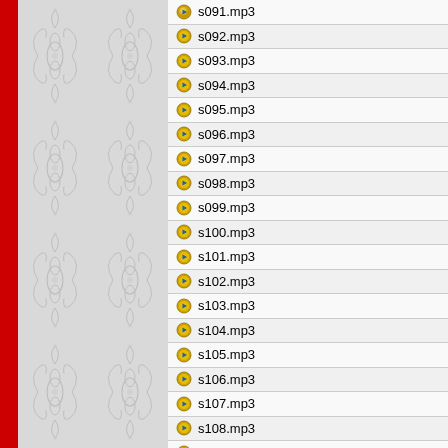s091.mp3
s092.mp3
s093.mp3
s094.mp3
s095.mp3
s096.mp3
s097.mp3
s098.mp3
s099.mp3
s100.mp3
s101.mp3
s102.mp3
s103.mp3
s104.mp3
s105.mp3
s106.mp3
s107.mp3
s108.mp3
s109.mp3
s110.mp3
s111.mp3
s112.mp3